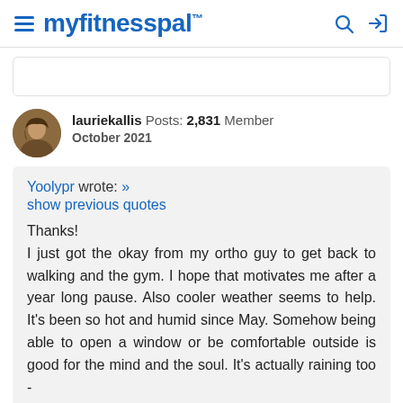myfitnesspal
lauriekallis Posts: 2,831 Member
October 2021
Yoolypr wrote: »
show previous quotes
Thanks!
I just got the okay from my ortho guy to get back to walking and the gym. I hope that motivates me after a year long pause. Also cooler weather seems to help. It's been so hot and humid since May. Somehow being able to open a window or be comfortable outside is good for the mind and the soul. It's actually raining too -